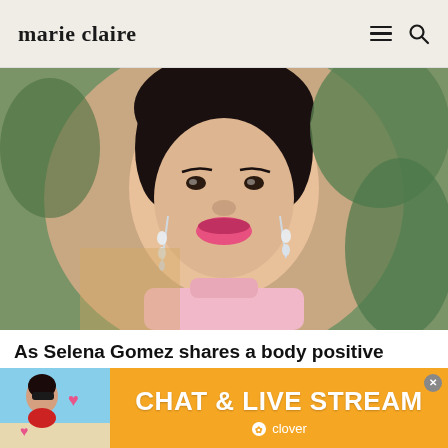marie claire
[Figure (photo): Close-up portrait of Selena Gomez wearing a pink turtleneck, diamond drop earrings, hair pulled back, smiling, with greenery in the background]
As Selena Gomez shares a body positive
[Figure (infographic): Advertisement banner for Clover app showing 'CHAT & LIVE STREAM' text in white on orange background, with a woman in red bikini on the left side and pink heart decorations]